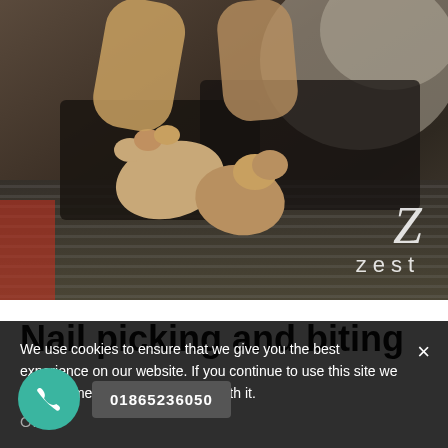[Figure (photo): Close-up photo of a person's feet/toes being held or examined, with a floral patterned garment visible in the background. The image is dark-toned. A 'zest' brand logo with a stylized Z is overlaid in the lower-right corner of the photo.]
Nail picking and biting
We use cookies to ensure that we give you the best experience on our website. If you continue to use this site we will assume that you are happy with it.
Ok
01865236050